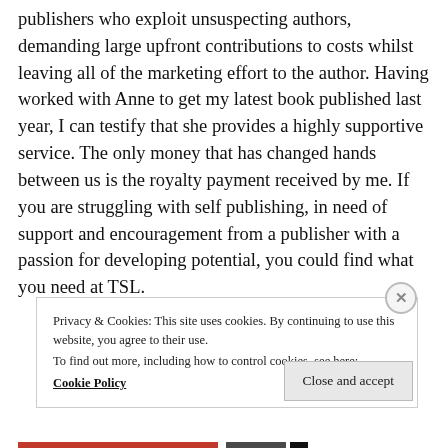publishers who exploit unsuspecting authors, demanding large upfront contributions to costs whilst leaving all of the marketing effort to the author. Having worked with Anne to get my latest book published last year, I can testify that she provides a highly supportive service. The only money that has changed hands between us is the royalty payment received by me. If you are struggling with self publishing, in need of support and encouragement from a publisher with a passion for developing potential, you could find what you need at TSL.
Privacy & Cookies: This site uses cookies. By continuing to use this website, you agree to their use. To find out more, including how to control cookies, see here: Cookie Policy
Close and accept